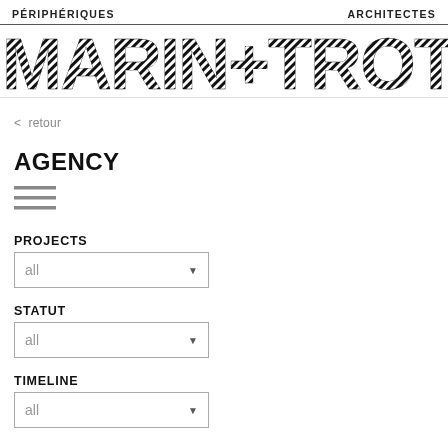PÉRIPHÉRIQUES    ARCHITECTES
[Figure (logo): Périphériques architectes logo — MARIN + TROTTIN in large diagonal-striped decorative letters]
< retour
AGENCY
[Figure (other): Hamburger menu icon — three horizontal lines]
PROJECTS
all (dropdown)
STATUT
all (dropdown)
TIMELINE
all (dropdown)